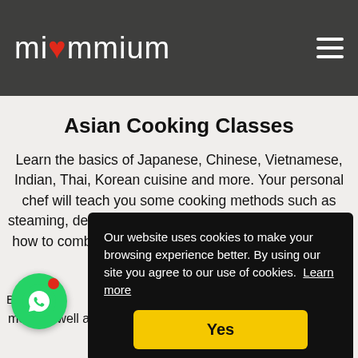miummium
Asian Cooking Classes
Learn the basics of Japanese, Chinese, Vietnamese, Indian, Thai, Korean cuisine and more. Your personal chef will teach you some cooking methods such as steaming, deep-frying and stir-frying. You will also learn how to combine flavors and cook common ingredients such as ginger, rice
Our website uses cookies to make your browsing experience better. By using our site you agree to our use of cookies. Learn more
Yes
meat as well as how to season them. You will also